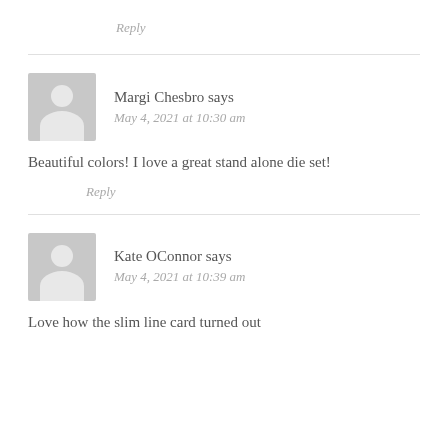Reply
Margi Chesbro says
May 4, 2021 at 10:30 am
Beautiful colors! I love a great stand alone die set!
Reply
Kate OConnor says
May 4, 2021 at 10:39 am
Love how the slim line card turned out